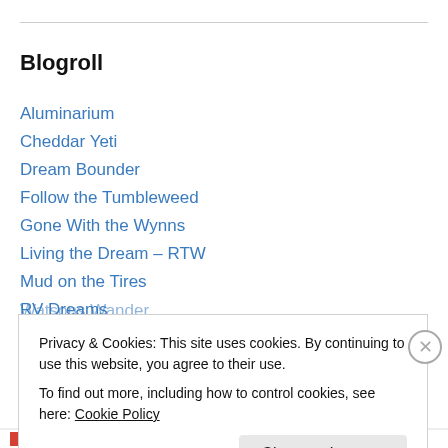Blogroll
Aluminarium
Cheddar Yeti
Dream Bounder
Follow the Tumbleweed
Gone With the Wynns
Living the Dream – RTW
Mud on the Tires
RV Dreams
Technomadia
Watsons Wander
Privacy & Cookies: This site uses cookies. By continuing to use this website, you agree to their use.
To find out more, including how to control cookies, see here: Cookie Policy
Close and accept